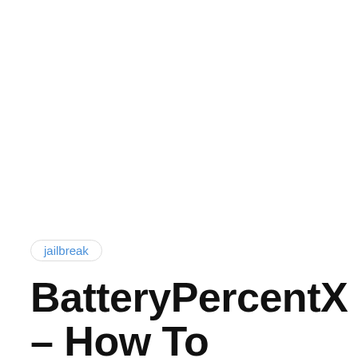jailbreak
BatteryPercentX – How To Download And Install Battery...